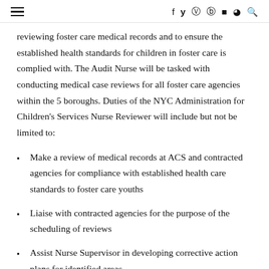≡  f  ✓  ⊙  ⊕  ▶  ◉  🔍
reviewing foster care medical records and to ensure the established health standards for children in foster care is complied with. The Audit Nurse will be tasked with conducting medical case reviews for all foster care agencies within the 5 boroughs. Duties of the NYC Administration for Children's Services Nurse Reviewer will include but not be limited to:
Make a review of medical records at ACS and contracted agencies for compliance with established health care standards to foster care youths
Liaise with contracted agencies for the purpose of the scheduling of reviews
Assist Nurse Supervisor in developing corrective action plans for identified areas
Using developed agency tool and scoring methods to